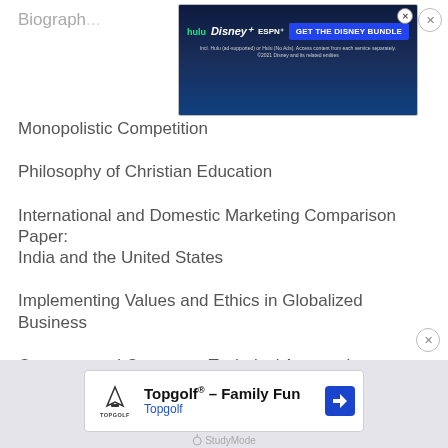Biograph...
Monopolistic Competition
Philosophy of Christian Education
International and Domestic Marketing Comparison Paper: India and the United States
Implementing Values and Ethics in Globalized Business
Compare and Contrast a Technical Approach to Innovation
Benefits and Problems of Mobile Phones
[Figure (screenshot): Disney Bundle advertisement banner with Hulu, Disney+, ESPN+ logos and GET THE DISNEY BUNDLE button]
[Figure (screenshot): Topgolf advertisement: Topgolf® - Family Fun with navigation icon]